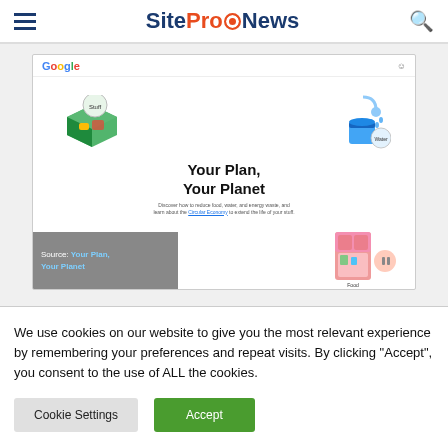SiteProNews
[Figure (screenshot): Screenshot of Google's 'Your Plan, Your Planet' webpage showing interactive sustainability tools with illustrated icons for Stuff, Water, and Food categories. A source overlay reads 'Source: Your Plan, Your Planet'.]
We use cookies on our website to give you the most relevant experience by remembering your preferences and repeat visits. By clicking “Accept”, you consent to the use of ALL the cookies.